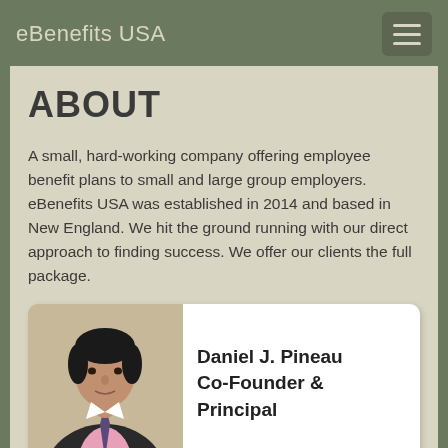eBenefits USA
ABOUT
A small, hard-working company offering employee benefit plans to small and large group employers. eBenefits USA was established in 2014 and based in New England. We hit the ground running with our direct approach to finding success. We offer our clients the full package.
[Figure (photo): Portrait photo of Daniel J. Pineau, Co-Founder & Principal of eBenefits USA, a man in a suit with a pink shirt and tie]
Daniel J. Pineau
Co-Founder &
Principal
Tim once dreamed of running his own online